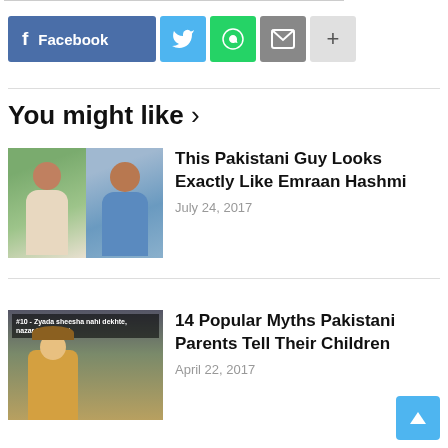[Figure (infographic): Social share buttons: Facebook (blue), Twitter (light blue), WhatsApp (green), Email (grey), More (+) (light grey)]
You might like ›
[Figure (photo): Thumbnail showing two photos of a Pakistani man side by side]
This Pakistani Guy Looks Exactly Like Emraan Hashmi
July 24, 2017
[Figure (photo): Thumbnail of a meme image with a child and text in Urdu: #10 - Zyada sheesha nahi dekhte, nazar lag jati hai]
14 Popular Myths Pakistani Parents Tell Their Children
April 22, 2017